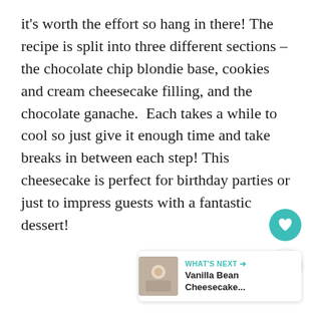it's worth the effort so hang in there! The recipe is split into three different sections – the chocolate chip blondie base, cookies and cream cheesecake filling, and the chocolate ganache.  Each takes a while to cool so just give it enough time and take breaks in between each step! This cheesecake is perfect for birthday parties or just to impress guests with a fantastic dessert!
[Figure (other): Teal circular heart/favourite button icon]
[Figure (other): White circular share/add button icon]
[Figure (other): What's Next card showing Vanilla Bean Cheesecake thumbnail with teal arrow label]